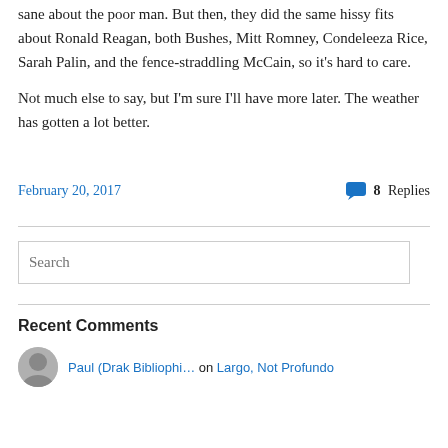sane about the poor man. But then, they did the same hissy fits about Ronald Reagan, both Bushes, Mitt Romney, Condeleeza Rice, Sarah Palin, and the fence-straddling McCain, so it’s hard to care.
Not much else to say, but I’m sure I’ll have more later. The weather has gotten a lot better.
February 20, 2017   █ 8 Replies
Search
Recent Comments
Paul (Drak Bibliophi… on Largo, Not Profundo